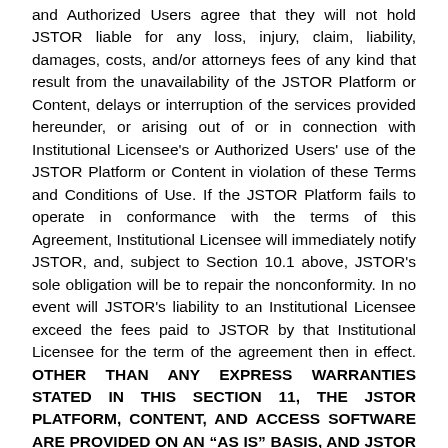and Authorized Users agree that they will not hold JSTOR liable for any loss, injury, claim, liability, damages, costs, and/or attorneys fees of any kind that result from the unavailability of the JSTOR Platform or Content, delays or interruption of the services provided hereunder, or arising out of or in connection with Institutional Licensee's or Authorized Users' use of the JSTOR Platform or Content in violation of these Terms and Conditions of Use. If the JSTOR Platform fails to operate in conformance with the terms of this Agreement, Institutional Licensee will immediately notify JSTOR, and, subject to Section 10.1 above, JSTOR's sole obligation will be to repair the nonconformity. In no event will JSTOR's liability to an Institutional Licensee exceed the fees paid to JSTOR by that Institutional Licensee for the term of the agreement then in effect. OTHER THAN ANY EXPRESS WARRANTIES STATED IN THIS SECTION 11, THE JSTOR PLATFORM, CONTENT, AND ACCESS SOFTWARE ARE PROVIDED ON AN “AS IS” BASIS, AND JSTOR AND ANY AND ALL THIRD PARTY CONTENT